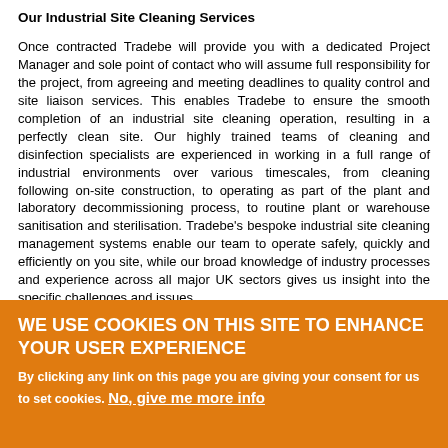Our Industrial Site Cleaning Services
Once contracted Tradebe will provide you with a dedicated Project Manager and sole point of contact who will assume full responsibility for the project, from agreeing and meeting deadlines to quality control and site liaison services. This enables Tradebe to ensure the smooth completion of an industrial site cleaning operation, resulting in a perfectly clean site. Our highly trained teams of cleaning and disinfection specialists are experienced in working in a full range of industrial environments over various timescales, from cleaning following on-site construction, to operating as part of the plant and laboratory decommissioning process, to routine plant or warehouse sanitisation and sterilisation. Tradebe's bespoke industrial site cleaning management systems enable our team to operate safely, quickly and efficiently on you site, while our broad knowledge of industry processes and experience across all major UK sectors gives us insight into the specific challenges and issues
WE USE COOKIES ON THIS SITE TO ENHANCE YOUR USER EXPERIENCE
By clicking any link on this page you are giving your consent for us to set cookies. No, give me more info